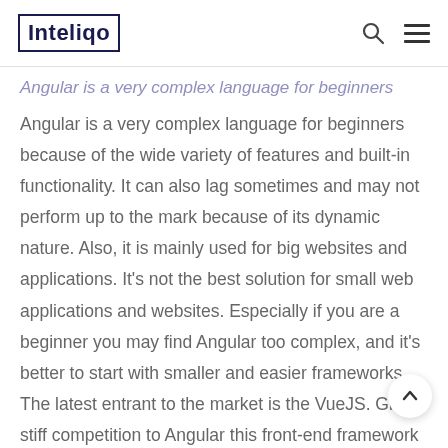Inteliqo
Angular is a very complex language for beginners because of the wide variety of features and built-in functionality. It can also lag sometimes and may not perform up to the mark because of its dynamic nature. Also, it is mainly used for big websites and applications. It's not the best solution for small web applications and websites. Especially if you are a beginner you may find Angular too complex, and it's better to start with smaller and easier frameworks. The latest entrant to the market is the VueJS. Giving stiff competition to Angular this front-end framework is not complex like Angular. It is a straightforward framework. Compared to Angular this framework is